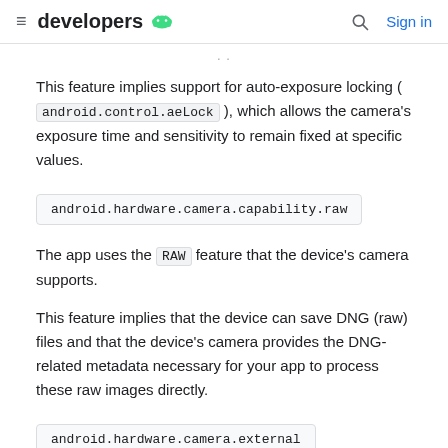≡ developers 🤖  🔍 Sign in
This feature implies support for auto-exposure locking ( android.control.aeLock ), which allows the camera's exposure time and sensitivity to remain fixed at specific values.
android.hardware.camera.capability.raw
The app uses the RAW feature that the device's camera supports.
This feature implies that the device can save DNG (raw) files and that the device's camera provides the DNG-related metadata necessary for your app to process these raw images directly.
android.hardware.camera.external
The app uses a camera with an external camera through the